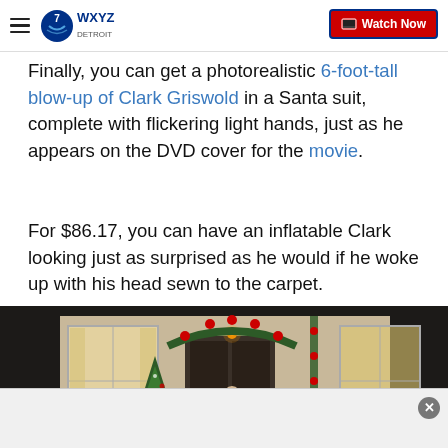WXYZ Detroit — Watch Now
Finally, you can get a photorealistic 6-foot-tall blow-up of Clark Griswold in a Santa suit, complete with flickering light hands, just as he appears on the DVD cover for the movie.
For $86.17, you can have an inflatable Clark looking just as surprised as he would if he woke up with his head sewn to the carpet.
[Figure (photo): Exterior of a house at night decorated for Christmas with trees and garland, with a small inflatable figure visible in the center doorway area.]